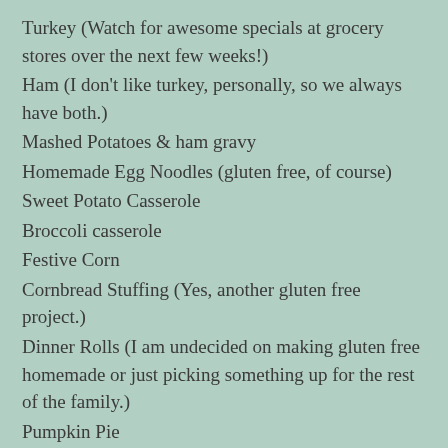Turkey (Watch for awesome specials at grocery stores over the next few weeks!)
Ham (I don't like turkey, personally, so we always have both.)
Mashed Potatoes & ham gravy
Homemade Egg Noodles (gluten free, of course)
Sweet Potato Casserole
Broccoli casserole
Festive Corn
Cornbread Stuffing (Yes, another gluten free project.)
Dinner Rolls (I am undecided on making gluten free homemade or just picking something up for the rest of the family.)
Pumpkin Pie
The Required